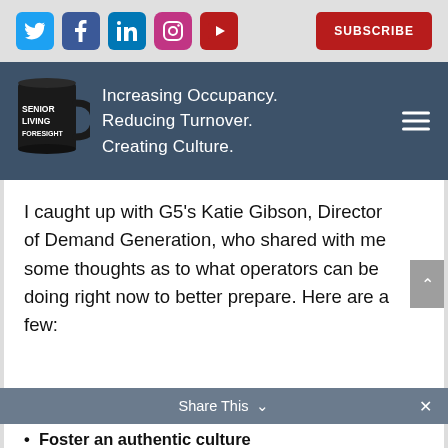[Figure (infographic): Social media icons bar with Twitter (blue), Facebook (dark blue), LinkedIn (blue), Instagram (pink/purple), YouTube (dark red), and a red SUBSCRIBE button on a light grey background]
[Figure (logo): Senior Living Foresight logo: black mug with text SENIOR LIVING FORESIGHT on a steel-blue banner. Tagline reads: Increasing Occupancy. Reducing Turnover. Creating Culture. Hamburger menu icon on right.]
I caught up with G5’s Katie Gibson, Director of Demand Generation, who shared with me some thoughts as to what operators can be doing right now to better prepare. Here are a few:
[Figure (infographic): Grey Share This bar with chevron down and X close button]
Foster an authentic culture